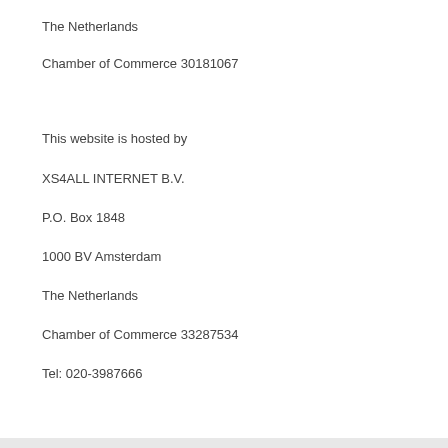The Netherlands
Chamber of Commerce 30181067
This website is hosted by
XS4ALL INTERNET B.V.
P.O. Box 1848
1000 BV Amsterdam
The Netherlands
Chamber of Commerce 33287534
Tel: 020-3987666